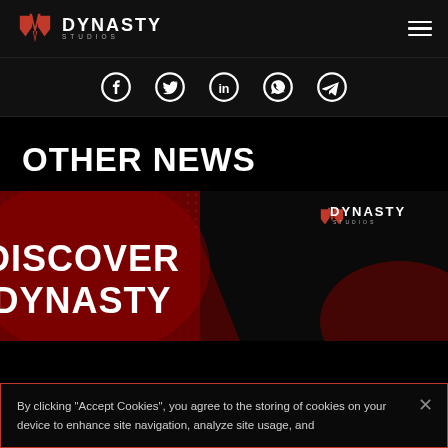Dynasty Studios — navigation header with logo and hamburger menu
[Figure (infographic): Social sharing icons bar: Facebook, Twitter, LinkedIn, WhatsApp, Telegram — white icons on dark background]
OTHER NEWS
[Figure (infographic): Promotional banner image reading 'DISCOVER DYNASTY' with Dynasty Studios logo, red geometric background with dark overlay]
By clicking "Accept Cookies", you agree to the storing of cookies on your device to enhance site navigation, analyze site usage, and